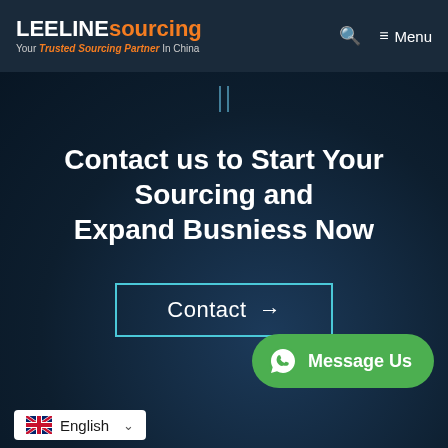LEELINE sourcing — Your Trusted Sourcing Partner In China | Menu
Contact us to Start Your Sourcing and Expand Busniess Now
Contact →
[Figure (other): Green WhatsApp-style Message Us button]
English (language selector with UK flag)